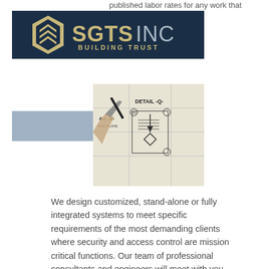published labor rates for any work that
[Figure (logo): SGTS INC logo — dark navy background, hexagonal shield icon on the left, 'SGTS INC' in large gold/grey letters, 'BUILDING TRUST' subtitle below]
[Figure (photo): Engineering drawing/blueprint being reviewed with a hand holding a pen, showing detail drawings with labels like DETAIL, ALL, END PLATE]
We design customized, stand-alone or fully integrated systems to meet specific requirements of the most demanding clients where security and access control are mission critical functions. Our team of professional consultants and engineers will meet with you, tour your facility and carefully craft solutions that match your budget while providing maximum performance and reliability. With over 2 decades of experience in the corrections and government marketplace, we know